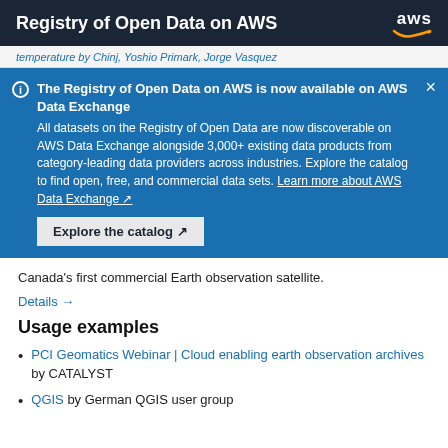Registry of Open Data on AWS
temperature by Chinj, Yoshio Primark, Jorge Vasquez
The Registry of Open Data on AWS is now available on AWS Data Exchange
All datasets on the Registry of Open Data are now discoverable on AWS Data Exchange alongside 3,000+ existing data products from category-leading data providers across industries. Explore the catalog to find open, free, and commercial data sets. Learn more about AWS Data Exchange
Explore the catalog
Canada's first commercial Earth observation satellite.
Details →
Usage examples
PCI Geomatics Webinar | Cloud enabling earth observation archives by CATALYST
QGIS by German QGIS user group